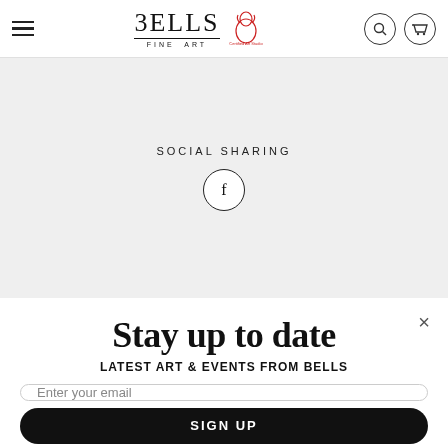[Figure (screenshot): Website header for Bells Fine Art showing hamburger menu, logo, certified art studio badge, search icon, and cart icon]
SOCIAL SHARING
[Figure (illustration): Facebook icon in a circle]
Stay up to date
LATEST ART & EVENTS FROM BELLS
Enter your email
SIGN UP
clitts is an extremely complex image